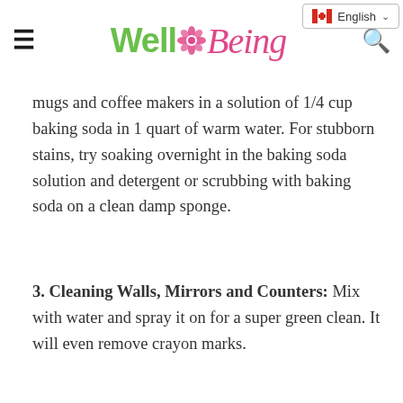English (Canadian flag)
[Figure (logo): WellBeing magazine logo with green 'Well', pink flower icon, and pink cursive 'Being']
mugs and coffee makers in a solution of 1/4 cup baking soda in 1 quart of warm water. For stubborn stains, try soaking overnight in the baking soda solution and detergent or scrubbing with baking soda on a clean damp sponge.
3. Cleaning Walls, Mirrors and Counters: Mix with water and spray it on for a super green clean. It will even remove crayon marks.